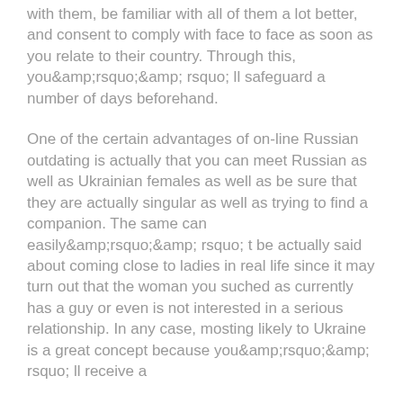with them, be familiar with all of them a lot better, and consent to comply with face to face as soon as you relate to their country. Through this, you&amp;amp;rsquo;&amp;amp; rsquo; ll safeguard a number of days beforehand.
One of the certain advantages of on-line Russian outdating is actually that you can meet Russian as well as Ukrainian females as well as be sure that they are actually singular as well as trying to find a companion. The same can easily&amp;amp;rsquo;&amp;amp; rsquo; t be actually said about coming close to ladies in real life since it may turn out that the woman you suched as currently has a guy or even is not interested in a serious relationship. In any case, mosting likely to Ukraine is a great concept because you&amp;amp;rsquo;&amp;amp; rsquo; ll receive a